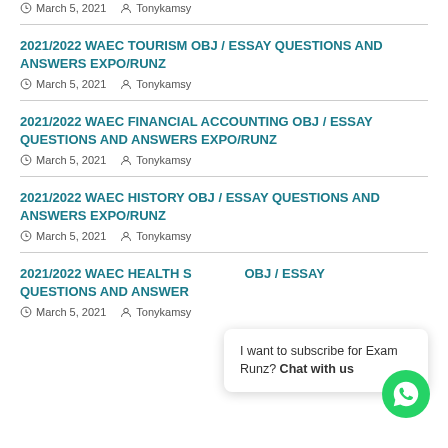March 5, 2021   Tonykamsy
2021/2022 WAEC TOURISM OBJ / ESSAY QUESTIONS AND ANSWERS EXPO/RUNZ
March 5, 2021   Tonykamsy
2021/2022 WAEC FINANCIAL ACCOUNTING OBJ / ESSAY QUESTIONS AND ANSWERS EXPO/RUNZ
March 5, 2021   Tonykamsy
2021/2022 WAEC HISTORY OBJ / ESSAY QUESTIONS AND ANSWERS EXPO/RUNZ
March 5, 2021   Tonykamsy
2021/2022 WAEC HEALTH [SCIENCE] OBJ / ESSAY QUESTIONS AND ANSWERS EXPO/RUNZ
March 5, 2021   Tonykamsy
I want to subscribe for Exam Runz? Chat with us